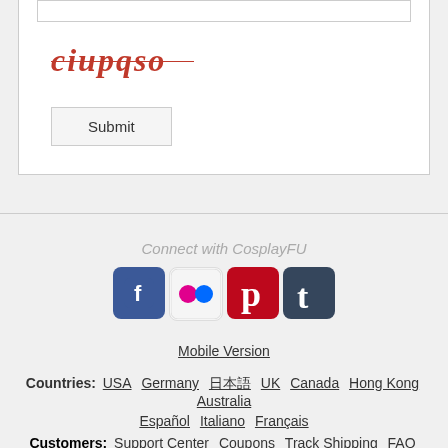[Figure (screenshot): CAPTCHA input field (text box) at top of form]
[Figure (screenshot): CAPTCHA image showing red italic text 'ciupqso' with a strikethrough line]
Submit
Connect with CosplayFU
[Figure (illustration): Social media icons: Facebook (blue), Flickr (pink/blue dots), Pinterest (red), Tumblr (dark blue)]
Mobile Version
Countries: USA Germany 日本語 UK Canada Hong Kong Australia
Español Italiano Français
Customers: Support Center Coupons Track Shipping FAQ
Disclaimer Terms of Service Privacy Statement Contact Us